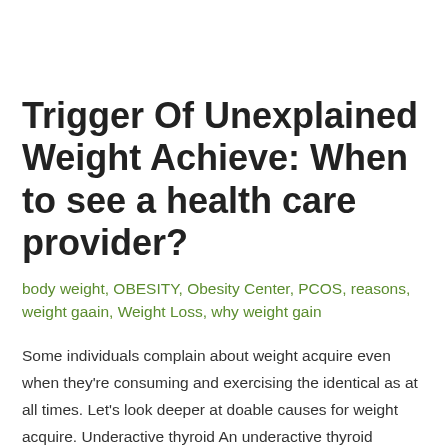Trigger Of Unexplained Weight Achieve: When to see a health care provider?
body weight, OBESITY, Obesity Center, PCOS, reasons, weight gaain, Weight Loss, why weight gain
Some individuals complain about weight acquire even when they're consuming and exercising the identical as at all times. Let's look deeper at doable causes for weight acquire. Underactive thyroid An underactive thyroid (hypothyroidism) means your thyroid gland shouldn't be producing sufficient thyroid hormones. This slows the physique's metabolism and might result in weight acquire. Though …